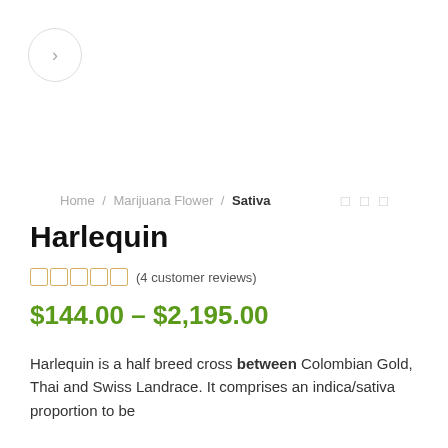[Figure (other): Top image area with a circular back button on the left side, partially visible product image at top]
Home / Marijuana Flower / Sativa
Harlequin
(4 customer reviews)
$144.00 – $2,195.00
Harlequin is a half breed cross between Colombian Gold, Thai and Swiss Landrace. It comprises an indica/sativa proportion to be